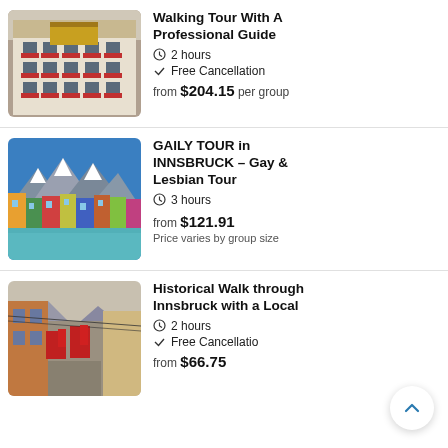[Figure (photo): Photo of the Golden Roof building in Innsbruck with colorful flower boxes on windows]
Walking Tour With A Professional Guide
2 hours
Free Cancellation
from $204.15 per group
[Figure (photo): Colorful buildings along the Inn River in Innsbruck with mountains in background]
GAILY TOUR in INNSBRUCK - Gay & Lesbian Tour
3 hours
from $121.91
Price varies by group size
[Figure (photo): Street view of historic Innsbruck old town with colorful buildings and mountains]
Historical Walk through Innsbruck with a Local
2 hours
Free Cancellation
from $66.75